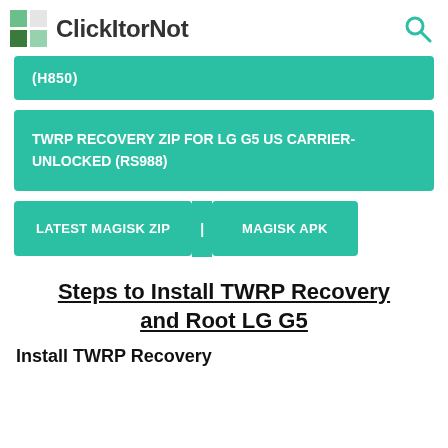ClickItorNot
(H850)
TWRP RECOVERY ZIP FOR LG G5 US CARRIER-UNLOCKED (RS988)
LATEST MAGISK ZIP | MAGISK APK
Steps to Install TWRP Recovery and Root LG G5
Install TWRP Recovery